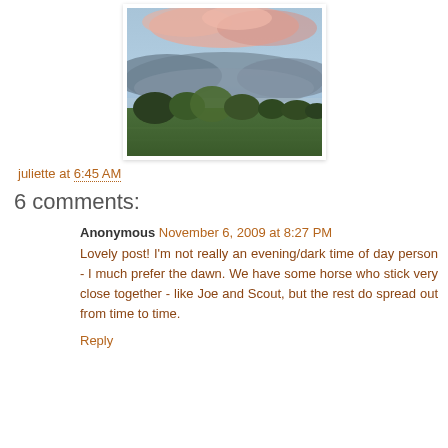[Figure (photo): Outdoor landscape photo showing a field with trees in the background and a dramatic sky with pink and grey clouds at dusk or dawn.]
juliette at 6:45 AM
6 comments:
Anonymous November 6, 2009 at 8:27 PM
Lovely post! I'm not really an evening/dark time of day person - I much prefer the dawn. We have some horse who stick very close together - like Joe and Scout, but the rest do spread out from time to time.
Reply